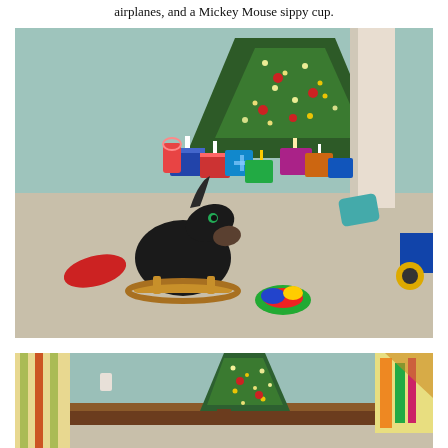airplanes, and a Mickey Mouse sippy cup.
[Figure (photo): A living room with a Christmas tree decorated with lights and ornaments in the background, surrounded by wrapped presents. In the foreground is a rocking horse toy (black stuffed horse on a wooden rocker), colorful toys on the carpet, and a toy tractor visible on the right edge. The room has light blue walls and beige carpet.]
[Figure (photo): Partial view of a living room with a lit Christmas tree in the center, light blue walls, striped curtains on the left, and colorful fabric or item on the right. The lower portion of the room and a mantel or shelf area is visible.]